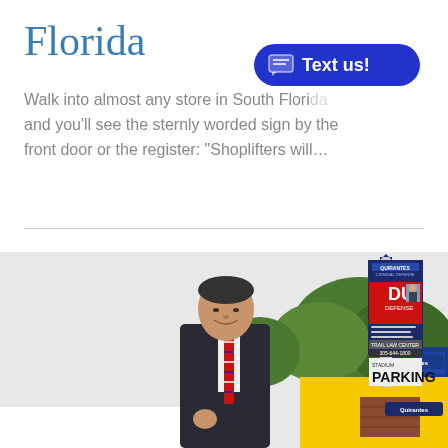Florida
Walk into almost any store in South Florida and you'll see the sternly worded sign by the front door or the register: “Shoplifters will…
[Figure (photo): A man in a dark suit with a red striped tie stands in front of a law firm building with a signage tower displaying 'Quirantes Criminal Defense' and 'DUI Defense' along with 'STADIUM PARKING'. A yellow and blue building is visible in the background with green trees.]